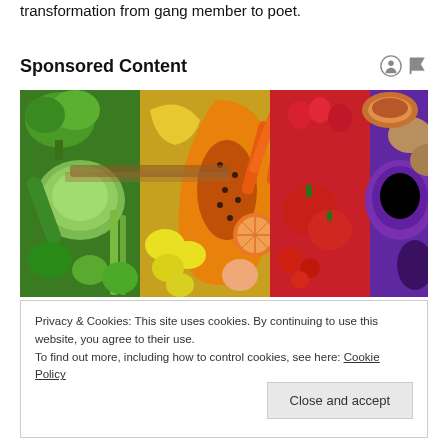transformation from gang member to poet.
Sponsored Content
[Figure (photo): Colorful array of fresh fruits and vegetables arranged in a rainbow pattern including broccoli, cabbage, peppers, papaya, oranges, lemons, apples, carrots, tomatoes, strawberries, red cabbage, and potatoes]
Privacy & Cookies: This site uses cookies. By continuing to use this website, you agree to their use.
To find out more, including how to control cookies, see here: Cookie Policy